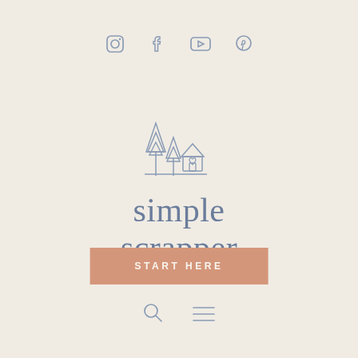[Figure (logo): Social media icons: Instagram, Facebook, YouTube, Pinterest — rendered in muted steel blue]
[Figure (logo): Simple Scrapper logo: pine trees and a small house with heart, drawn in outline style in muted steel blue, above the brand name 'simple scrapper' in elegant serif lowercase]
START HERE
[Figure (infographic): Bottom navigation icons: magnifying glass (search) and hamburger menu lines, in muted steel blue]